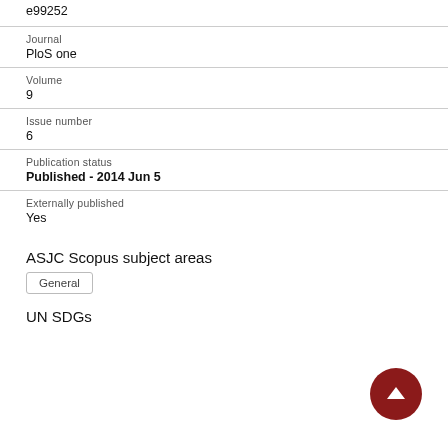e99252
Journal
PloS one
Volume
9
Issue number
6
Publication status
Published - 2014 Jun 5
Externally published
Yes
ASJC Scopus subject areas
General
UN SDGs